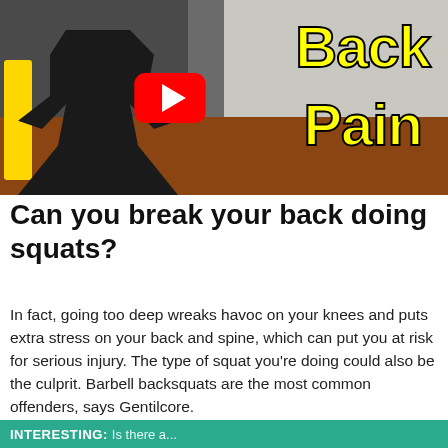[Figure (photo): YouTube video thumbnail showing an athlete squatting in a gym with yellow bold text reading 'Back Pain' and a YouTube play button overlay]
Can you break your back doing squats?
In fact, going too deep wreaks havoc on your knees and puts extra stress on your back and spine, which can put you at risk for serious injury. The type of squat you’re doing could also be the culprit. Barbell backsquats are the most common offenders, says Gentilcore.
INTERESTING: Is there a...